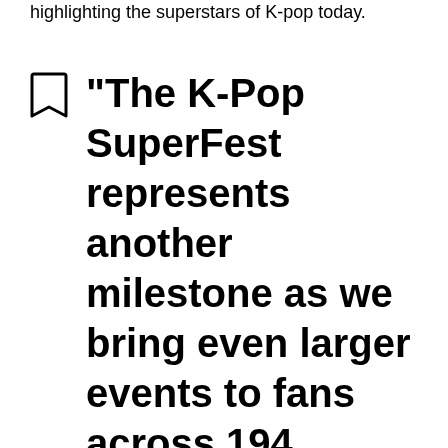highlighting the superstars of K-pop today.
“The K-Pop SuperFest represents another milestone as we bring even larger events to fans across 194 countries and 18 languages. Sessions’ unique combination of …ification and…